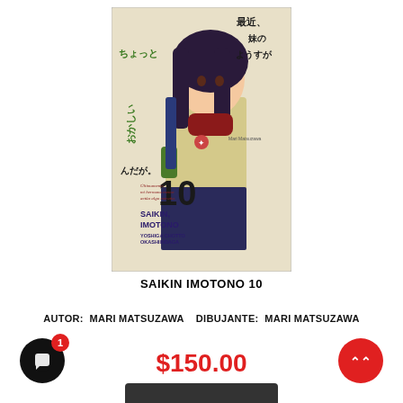[Figure (illustration): Manga book cover for 'Saikin Imotono 10' featuring an anime-style girl in school uniform with Japanese text and volume number 10]
SAIKIN IMOTONO 10
AUTOR:  MARI MATSUZAWA   DIBUJANTE:  MARI MATSUZAWA
$150.00